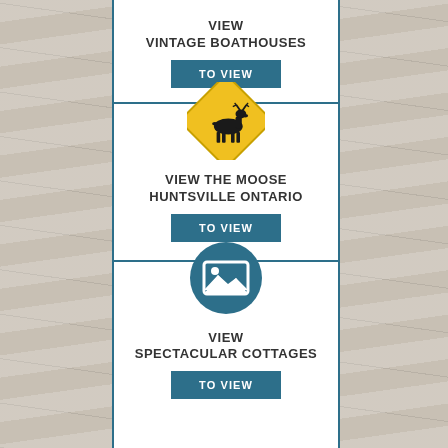VIEW
VINTAGE BOATHOUSES
TO VIEW
[Figure (illustration): Yellow diamond-shaped moose crossing warning road sign with black moose silhouette]
VIEW THE MOOSE
HUNTSVILLE ONTARIO
TO VIEW
[Figure (illustration): Teal circle with white image/photo placeholder icon]
VIEW
SPECTACULAR COTTAGES
TO VIEW